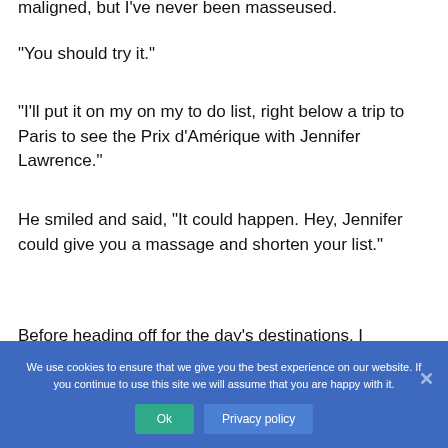maligned, but I've never been masseused.
“You should try it.”
“I’ll put it on my on my to do list, right below a trip to Paris to see the Prix d’Amérique with Jennifer Lawrence.”
He smiled and said, “It could happen. Hey, Jennifer could give you a massage and shorten your list.”
Before heading off for the day’s destinations, I
We use cookies to ensure that we give you the best experience on our website. If you continue to use this site we will assume that you are happy with it.
Ok
Privacy policy